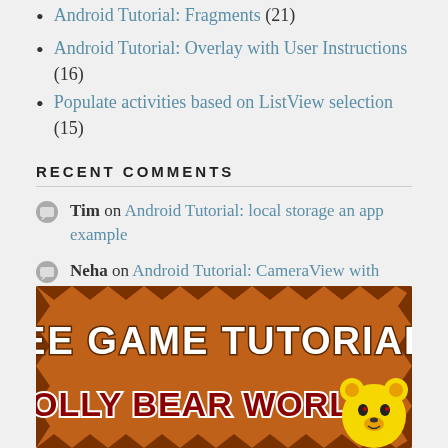Android Tutorial: Fragments (21)
Android Tutorial: Overlay with User Instructions (16)
Populate activities based on ListView selection (15)
RECENT COMMENTS
Tim on Android Tutorial: local storage an app example
Neha on Android Tutorial: CameraView with layar
Soumen Das on Tutorial: Activity slide animation
GET STARTED
[Figure (illustration): Banner image with orange spiky background reading FREE GAME TUTORIALS and ROLLY BEAR WORLD with a cartoon bear face]